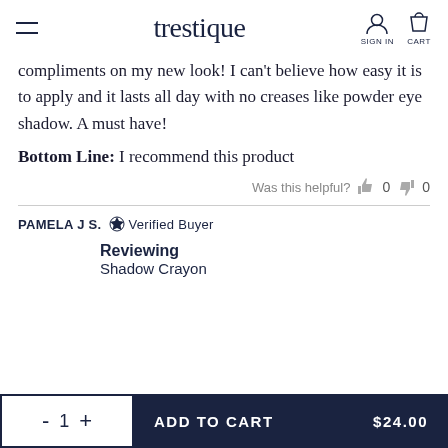trestique | SIGN IN | CART
compliments on my new look! I can't believe how easy it is to apply and it lasts all day with no creases like powder eye shadow. A must have!
Bottom Line: I recommend this product
Was this helpful? 0 0
PAMELA J S. ✔ Verified Buyer
Reviewing
Shadow Crayon
- 1 + ADD TO CART $24.00